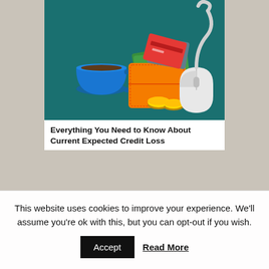[Figure (illustration): Illustration on a teal/dark green background showing a coffee cup (blue), an orange wallet, green cash bills, credit cards, gold coins, and a white computer mouse with cord]
Everything You Need to Know About Current Expected Credit Loss
This website uses cookies to improve your experience. We'll assume you're ok with this, but you can opt-out if you wish.